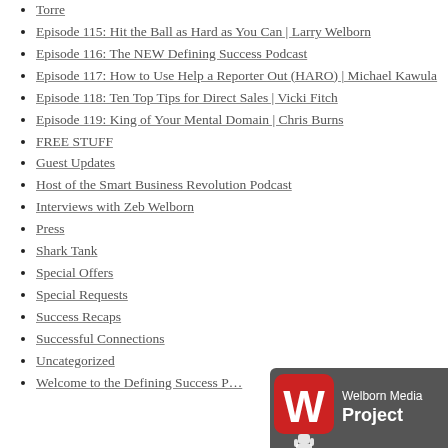Torre
Episode 115: Hit the Ball as Hard as You Can | Larry Welborn
Episode 116: The NEW Defining Success Podcast
Episode 117: How to Use Help a Reporter Out (HARO) | Michael Kawula
Episode 118: Ten Top Tips for Direct Sales | Vicki Fitch
Episode 119: King of Your Mental Domain | Chris Burns
FREE STUFF
Guest Updates
Host of the Smart Business Revolution Podcast
Interviews with Zeb Welborn
Press
Shark Tank
Special Offers
Special Requests
Success Recaps
Successful Connections
Uncategorized
Welcome to the Defining Success P…
[Figure (logo): Welborn Media Project logo with red W icon on grey background with cursor hand icon]